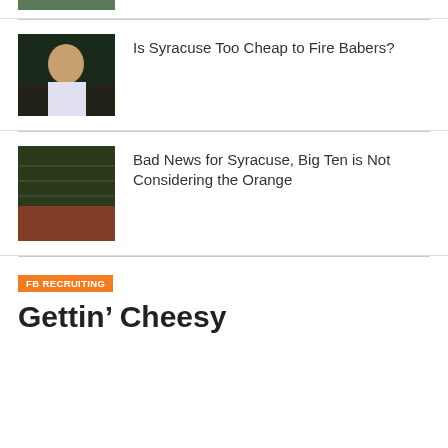[Figure (photo): Partial image visible at the very top of page, cropped]
Is Syracuse Too Cheap to Fire Babers?
[Figure (photo): Photo of a man in a white polo shirt, presumably a coach at a football game]
Bad News for Syracuse, Big Ten is Not Considering the Orange
[Figure (photo): Aerial/wide shot of a marching band or stadium crowd on a football field]
FB RECRUITING
Gettin’ Cheesy